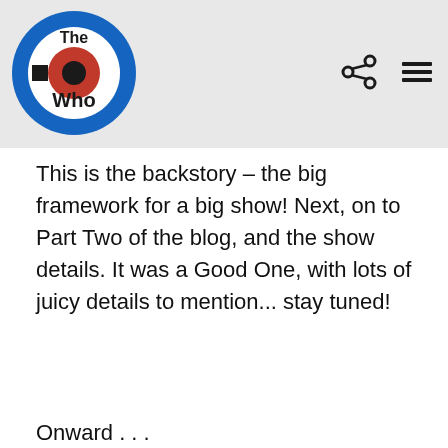[Figure (logo): The Who band logo — circular target/bullseye design in blue and white with 'The Who' text in black and red]
This is the backstory – the big framework for a big show! Next, on to Part Two of the blog, and the show details. It was a Good One, with lots of juicy details to mention... stay tuned!
Onward . . .
We are passionate about music. To help us share that passion we'd like to use cookies and similar technologies to personalize your experiences on our sites and to advertise on other sites. By clicking Accept All, you agree to our use of analytics, marketing, and advertising cookies. You can revoke your consent at any time. For more information and additional choices click on Cookie Choices below. Privacy Policy.